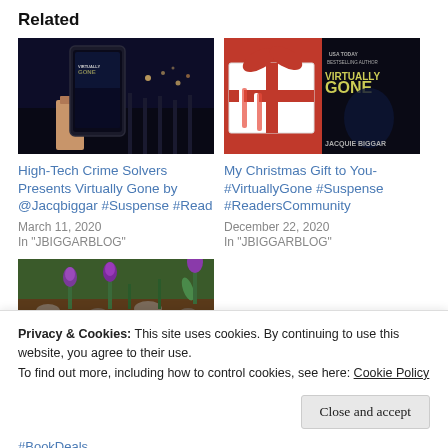Related
[Figure (photo): Photo of hands holding a smartphone showing book cover 'Virtually Gone' at night near a waterfront dock]
High-Tech Crime Solvers Presents Virtually Gone by @Jacqbiggar #Suspense #Read
March 11, 2020
In "JBIGGARBLOG"
[Figure (photo): Book cover of 'Virtually Gone' by Jacquie Biggar next to a Christmas gift box with red ribbon and candy canes]
My Christmas Gift to You- #VirtuallyGone #Suspense #ReadersCommunity
December 22, 2020
In "JBIGGARBLOG"
[Figure (photo): Photo of purple crocuses emerging from soil in early spring]
Privacy & Cookies: This site uses cookies. By continuing to use this website, you agree to their use.
To find out more, including how to control cookies, see here: Cookie Policy
Close and accept
#BookDeals